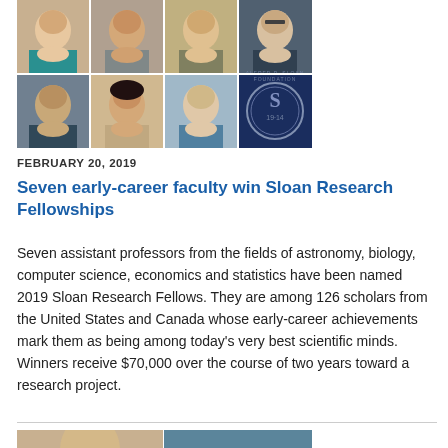[Figure (photo): Grid of 8 headshots of faculty members (7 portraits in 2 rows of 4, with Alfred P. Sloan Foundation logo in bottom-right cell)]
FEBRUARY 20, 2019
Seven early-career faculty win Sloan Research Fellowships
Seven assistant professors from the fields of astronomy, biology, computer science, economics and statistics have been named 2019 Sloan Research Fellows. They are among 126 scholars from the United States and Canada whose early-career achievements mark them as being among today's very best scientific minds. Winners receive $70,000 over the course of two years toward a research project.
[Figure (photo): Partial view of two more photos at bottom of page, cropped]